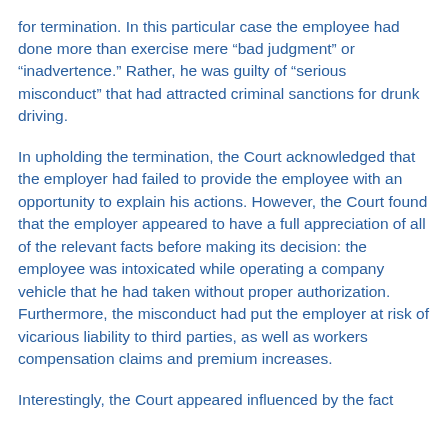for termination. In this particular case the employee had done more than exercise mere “bad judgment” or “inadvertence.” Rather, he was guilty of “serious misconduct” that had attracted criminal sanctions for drunk driving.
In upholding the termination, the Court acknowledged that the employer had failed to provide the employee with an opportunity to explain his actions. However, the Court found that the employer appeared to have a full appreciation of all of the relevant facts before making its decision: the employee was intoxicated while operating a company vehicle that he had taken without proper authorization. Furthermore, the misconduct had put the employer at risk of vicarious liability to third parties, as well as workers compensation claims and premium increases.
Interestingly, the Court appeared influenced by the fact